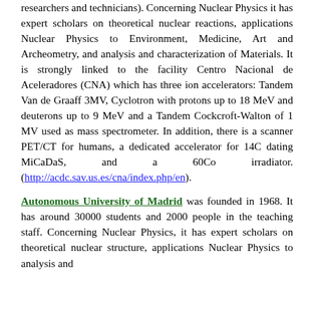researchers and technicians). Concerning Nuclear Physics it has expert scholars on theoretical nuclear reactions, applications Nuclear Physics to Environment, Medicine, Art and Archeometry, and analysis and characterization of Materials. It is strongly linked to the facility Centro Nacional de Aceleradores (CNA) which has three ion accelerators: Tandem Van de Graaff 3MV, Cyclotron with protons up to 18 MeV and deuterons up to 9 MeV and a Tandem Cockcroft-Walton of 1 MV used as mass spectrometer. In addition, there is a scanner PET/CT for humans, a dedicated accelerator for 14C dating MiCaDaS, and a 60Co irradiator. (http://acdc.sav.us.es/cna/index.php/en).
Autonomous University of Madrid was founded in 1968. It has around 30000 students and 2000 people in the teaching staff. Concerning Nuclear Physics, it has expert scholars on theoretical nuclear structure, applications Nuclear Physics to analysis and